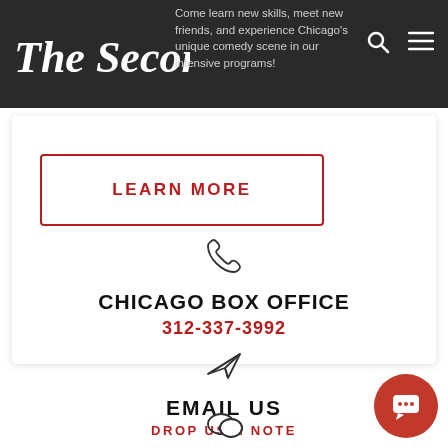The Second City — Come learn new skills, meet new friends, and experience Chicago's unique comedy scene in our intensive programs!
LEARN MORE
CHICAGO BOX OFFICE
312-337-3992
EMAIL US
DROP US A NOTE